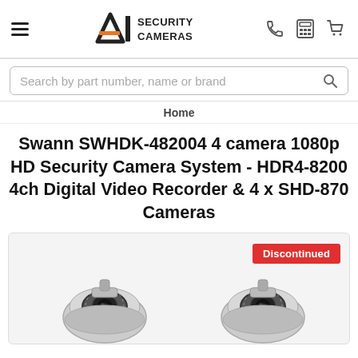A1 Security Cameras — navigation header with hamburger menu, logo, phone, calculator, and cart icons
Search by part number, name or brand
Home
Swann SWHDK-482004 4 camera 1080p HD Security Camera System - HDR4-8200 4ch Digital Video Recorder & 4 x SHD-870 Cameras
[Figure (photo): Product image showing two white bullet-style security cameras with IR LEDs, with a red 'Discontinued' badge in the top right corner of the image box.]